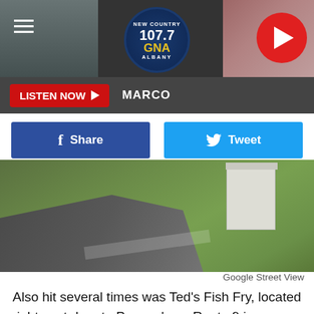[Figure (other): Radio station header with 107.7 GNA New Country Albany logo, hamburger menu icon on left, red play button on right, dark background with gradient photo backgrounds]
LISTEN NOW ▶  MARCO
[Figure (other): Facebook Share button and Twitter Tweet button side by side]
[Figure (photo): Google Street View photo of a road/driveway and grass area with a white building in the background]
Google Street View
Also hit several times was Ted's Fish Fry, located right next door to Paesan's on Route 9 in Latham.
[Figure (photo): Outdoor photo showing trees and sky, partially visible at bottom of page]